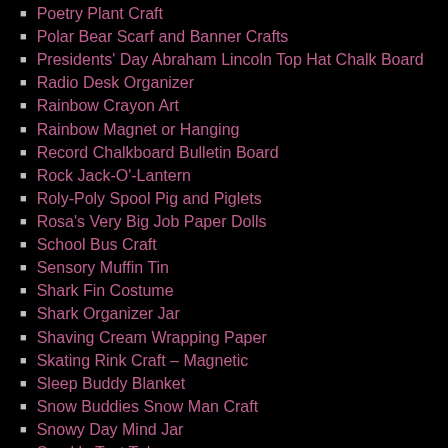Poetry Plant Craft
Polar Bear Scarf and Banner Crafts
Presidents' Day Abraham Lincoln Top Hat Chalk Board
Radio Desk Organizer
Rainbow Crayon Art
Rainbow Magnet or Hanging
Record Chalkboard Bulletin Board
Rock Jack-O'-Lantern
Roly-Poly Spool Pig and Piglets
Rosa's Very Big Job Paper Dolls
School Bus Craft
Sensory Muffin Tin
Shark Fin Costume
Shark Organizer Jar
Shaving Cream Wrapping Paper
Skating Rink Craft – Magnetic
Sleep Buddy Blanket
Snow Buddies Snow Man Craft
Snowy Day Mind Jar
Sparkle Test Tubes
Spice Bottle Penguins
Spool Elephant
Spool Photograph Holder